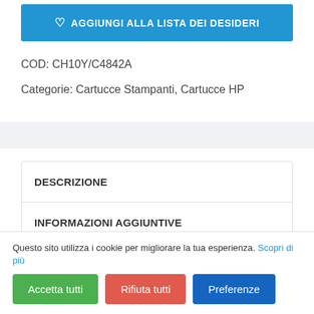[Figure (other): Blue button: AGGIUNGI ALLA LISTA DEI DESIDERI (add to wishlist) with heart icon]
COD: CH10Y/C4842A
Categorie: Cartucce Stampanti, Cartucce HP
DESCRIZIONE
INFORMAZIONI AGGIUNTIVE
Questo sito utilizza i cookie per migliorare la tua esperienza. Scopri di più
Accetta tutti
Rifiuta tutti
Preferenze